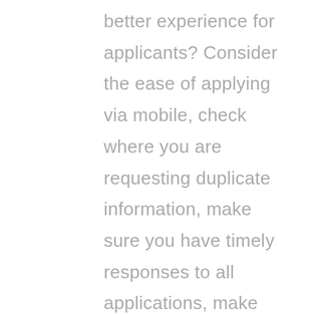better experience for applicants? Consider the ease of applying via mobile, check where you are requesting duplicate information, make sure you have timely responses to all applications, make sure your job